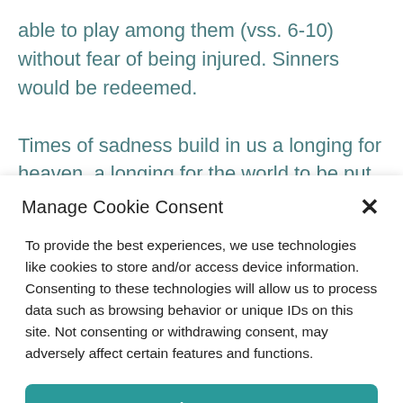able to play among them (vss. 6-10) without fear of being injured. Sinners would be redeemed.
Times of sadness build in us a longing for heaven, a longing for the world to be put
Manage Cookie Consent
To provide the best experiences, we use technologies like cookies to store and/or access device information. Consenting to these technologies will allow us to process data such as browsing behavior or unique IDs on this site. Not consenting or withdrawing consent, may adversely affect certain features and functions.
Accept
Opt-out preferences